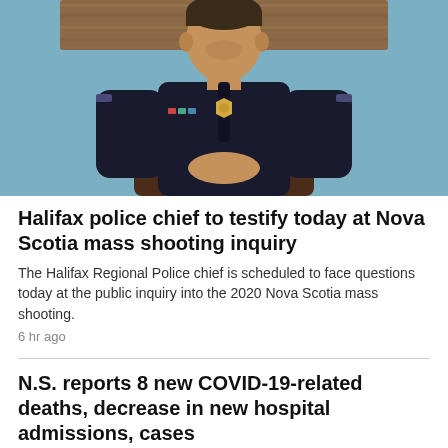[Figure (photo): A police chief in dark uniform with badge seated in a brown chair, blue wall and wood panel background]
Halifax police chief to testify today at Nova Scotia mass shooting inquiry
The Halifax Regional Police chief is scheduled to face questions today at the public inquiry into the 2020 Nova Scotia mass shooting.
6 hr ago
N.S. reports 8 new COVID-19-related deaths, decrease in new hospital admissions, cases